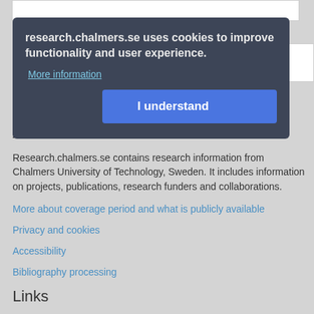[Figure (screenshot): Cookie consent modal overlay on research.chalmers.se website. Dark gray modal with text about cookies, a 'More information' link, and a blue 'I understand' button. Behind it: a feedback form with input areas and 'Send feedback' button.]
research.chalmers.se uses cookies to improve functionality and user experience.
More information
I understand
About
Research.chalmers.se contains research information from Chalmers University of Technology, Sweden. It includes information on projects, publications, research funders and collaborations.
More about coverage period and what is publicly available
Privacy and cookies
Accessibility
Bibliography processing
Links